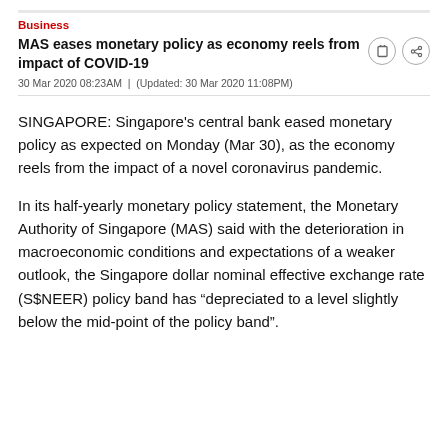Business
MAS eases monetary policy as economy reels from impact of COVID-19
30 Mar 2020 08:23AM | (Updated: 30 Mar 2020 11:08PM)
SINGAPORE: Singapore's central bank eased monetary policy as expected on Monday (Mar 30), as the economy reels from the impact of a novel coronavirus pandemic.
In its half-yearly monetary policy statement, the Monetary Authority of Singapore (MAS) said with the deterioration in macroeconomic conditions and expectations of a weaker outlook, the Singapore dollar nominal effective exchange rate (S$NEER) policy band has “depreciated to a level slightly below the mid-point of the policy band”.